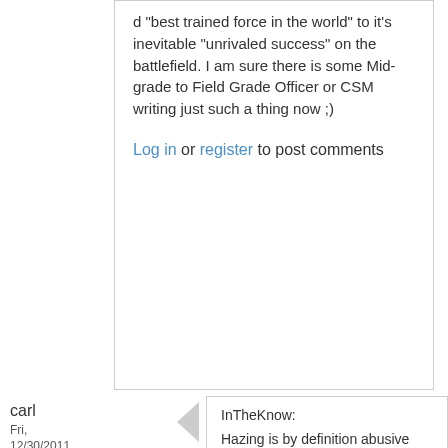d "best trained force in the world" to it's inevitable "unrivaled success" on the battlefield. I am sure there is some Mid-grade to Field Grade Officer or CSM writing just such a thing now ;)
Log in or register to post comments
carl
Fri, 12/30/2011 - 6:51pm
InTheKnow:
Hazing is by definition abusive and